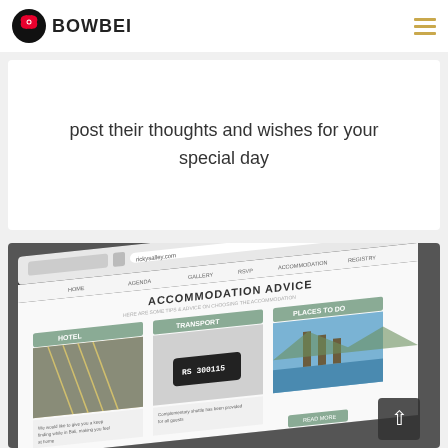[Figure (logo): BOWBEI logo with bowtie icon and bold text]
post their thoughts and wishes for your special day
[Figure (screenshot): Screenshot of a wedding website showing 'ACCOMMODATION ADVICE' page with sections for Hotel, Transport, and Places to Do, featuring images of a hotel venue, a car, and Bali temple]